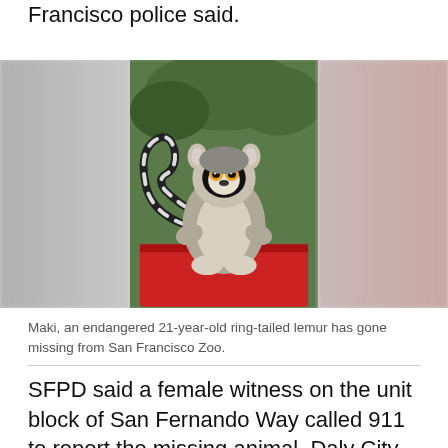Francisco police said.
[Figure (photo): Maki, a ring-tailed lemur sitting on a red surface with trees in background. The photo has blurred gray and pink edges on left and right sides.]
Maki, an endangered 21-year-old ring-tailed lemur has gone missing from San Francisco Zoo.
SFPD said a female witness on the unit block of San Fernando Way called 911 to report the missing animal. Daly City police, along with Animal Care and Control